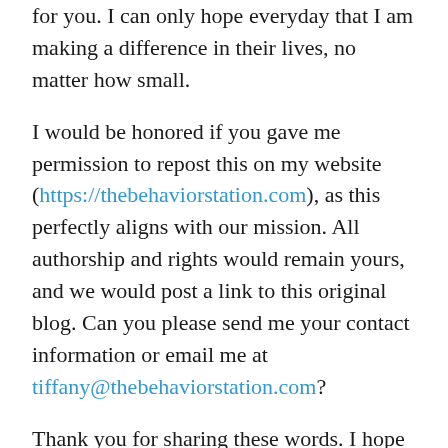for you. I can only hope everyday that I am making a difference in their lives, no matter how small.
I would be honored if you gave me permission to repost this on my website (https://thebehaviorstation.com), as this perfectly aligns with our mission. All authorship and rights would remain yours, and we would post a link to this original blog. Can you please send me your contact information or email me at tiffany@thebehaviorstation.com?
Thank you for sharing these words. I hope to help you continue to spread this message, as parents are the center of their child's